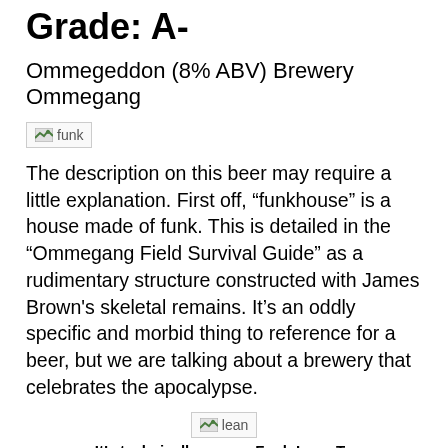Grade: A-
Ommegeddon (8% ABV) Brewery Ommegang
[Figure (illustration): Broken image placeholder labeled 'funk']
The description on this beer may require a little explanation. First off, “funkhouse” is a house made of funk. This is detailed in the “Ommegang Field Survival Guide” as a rudimentary structure constructed with James Brown's skeletal remains. It’s an oddly specific and morbid thing to reference for a beer, but we are talking about a brewery that celebrates the apocalypse.
[Figure (illustration): Broken image placeholder labeled 'lean']
It’s technically more a Funk-Lean-To
Brettanomyces is quite literally another animal altogether. This yeast strain is often associated with Belgian or Belgian-style beers. Its reputation for delivering weird flavors and aromatics is legendary. It’s not an easy yeast to refine or